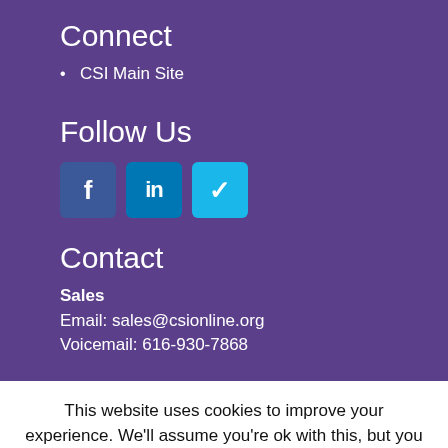Connect
CSI Main Site
Follow Us
[Figure (other): Social media icons: Facebook (f), LinkedIn (in), Vimeo (v)]
Contact
Sales
Email: sales@csionline.org
Voicemail: 616-930-7868
This website uses cookies to improve your experience. We'll assume you're ok with this, but you can opt-out if you wish.
Cookie settings
ACCEPT